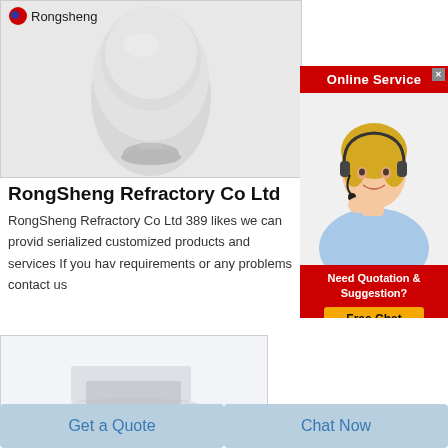[Figure (photo): White powder in a vase/egg-shaped pile on a display stand, with Rongsheng logo text in top-left corner of image]
[Figure (photo): Online Service banner with customer service representative wearing headset, smiling, with Need Quotation & Suggestion? and Free Chat button]
RongSheng Refractory Co Ltd
RongSheng Refractory Co Ltd 389 likes we can provid serialized customized products and services If you hav requirements or any problems contact us
[Figure (photo): White/light grey rectangular refractory brick blocks]
Get a Quote
Chat Now